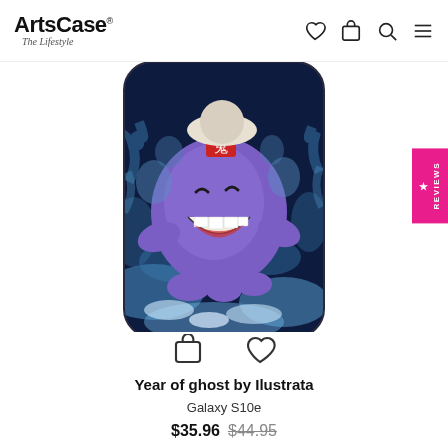ArtsCase - The Lifestyle
[Figure (photo): Phone case product photo showing a purple ghost character with Japanese oni aesthetic, grinning widely, surrounded by blue flames, on a dark background. The case is for Galaxy S10e.]
Year of ghost by Ilustrata
Galaxy S10e
$35.96  $44.95